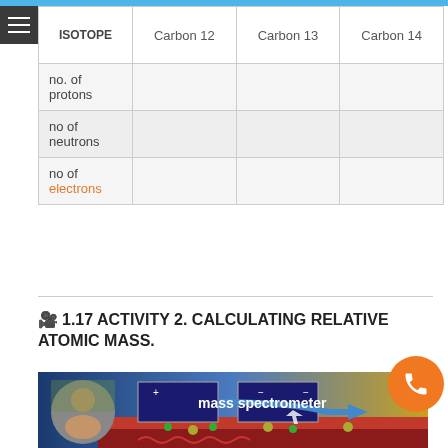| ISOTOPE | Carbon 12 | Carbon 13 | Carbon 14 |
| --- | --- | --- | --- |
| no. of protons |  |  |  |
| no of neutrons |  |  |  |
| no of electrons |  |  |  |
1.17 ACTIVITY 2. CALCULATING RELATIVE ATOMIC MASS.
[Figure (screenshot): Video thumbnail showing a mass spectrometer diagram with a teacher's photo overlay and text 'mass spectrometer']